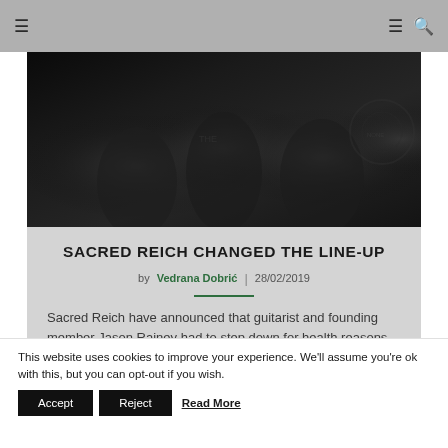≡  ≡ 🔍
[Figure (photo): Dark band photo showing figures in black clothing, equipment visible in background]
SACRED REICH CHANGED THE LINE-UP
by Vedrana Dobrić | 28/02/2019
Sacred Reich have announced that guitarist and founding member Jason Rainey had to step down for health reasons.
This website uses cookies to improve your experience. We'll assume you're ok with this, but you can opt-out if you wish.